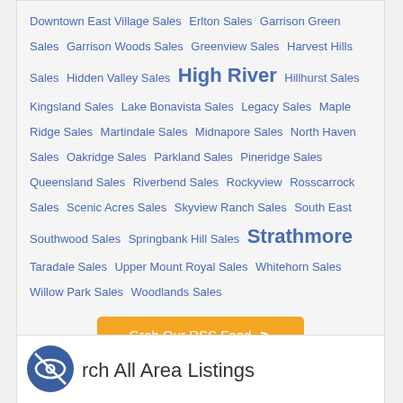Downtown East Village Sales  Erlton Sales  Garrison Green Sales  Garrison Woods Sales  Greenview Sales  Harvest Hills Sales  Hidden Valley Sales  High River  Hillhurst Sales  Kingsland Sales  Lake Bonavista Sales  Legacy Sales  Maple Ridge Sales  Martindale Sales  Midnapore Sales  North Haven Sales  Oakridge Sales  Parkland Sales  Pineridge Sales  Queensland Sales  Riverbend Sales  Rockyview  Rosscarrock Sales  Scenic Acres Sales  Skyview Ranch Sales  South East  Southwood Sales  Springbank Hill Sales  Strathmore  Taradale Sales  Upper Mount Royal Sales  Whitehorn Sales  Willow Park Sales  Woodlands Sales
Grab Our RSS Feed
rch All Area Listings